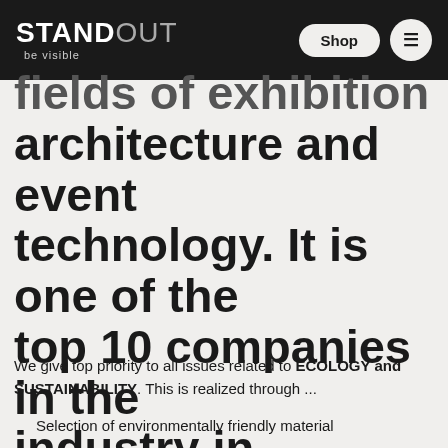STANDOUT be visible | Shop | Menu
fields of exhibition architecture and event technology. It is one of the top 10 companies in the industry in Europe.
We give top priority to all issues related to ECOLOGY and SUSTAINABILITY. This is realized through ...
Selection of environmentally friendly material